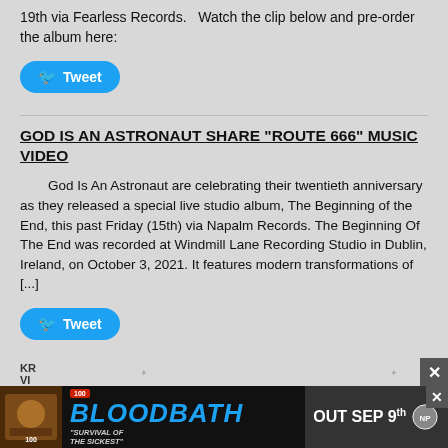19th via Fearless Records.   Watch the clip below and pre-order the album here:
[Figure (other): Twitter Tweet button (blue rounded rectangle with bird icon and 'Tweet' label)]
GOD IS AN ASTRONAUT SHARE “ROUTE 666” MUSIC VIDEO
God Is An Astronaut are celebrating their twentieth anniversary as they released a special live studio album, The Beginning of the End, this past Friday (15th) via Napalm Records. The Beginning Of The End was recorded at Windmill Lane Recording Studio in Dublin, Ireland, on October 3, 2021. It features modern transformations of [...]
[Figure (other): Twitter Tweet button (blue rounded rectangle with bird icon and 'Tweet' label)]
[Figure (other): Advertisement banner for Bloodbath 'Survival of the Sickest' album out Sep 9th, with album art on the left, large blue 'BLOODBATH' text, and 'OUT SEP 9th' on the right]